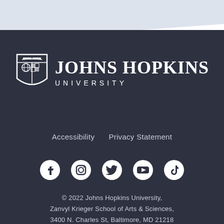[Figure (logo): Johns Hopkins University shield logo with text 'JOHNS HOPKINS UNIVERSITY']
Accessibility   Privacy Statement
[Figure (infographic): Social media icons: Facebook, Instagram, Twitter, YouTube, TikTok]
© 2022 Johns Hopkins University, Zanvyl Krieger School of Arts & Sciences, 3400 N. Charles St, Baltimore, MD 21218